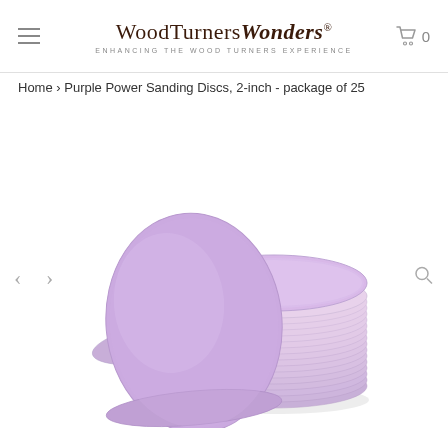WoodTurners Wonders® — ENHANCING THE WOOD TURNERS EXPERIENCE
Home › Purple Power Sanding Discs, 2-inch - package of 25
[Figure (photo): Stack of purple power sanding discs, 2-inch diameter, showing multiple discs stacked with one disc leaning against the stack. The discs are lavender/purple in color with a slightly textured abrasive surface.]